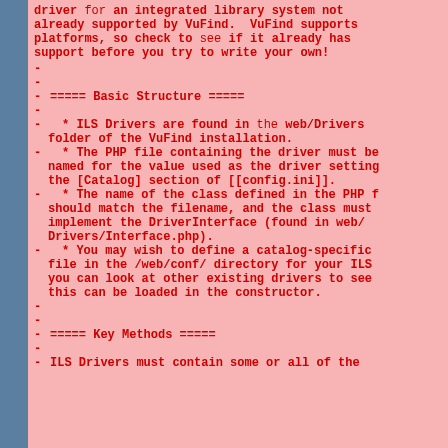driver for an integrated library system not already supported by VuFind.  VuFind supports platforms, so check to see if it already has support before you try to write your own!
===== Basic Structure =====
* ILS Drivers are found in the web/Drivers folder of the VuFind installation.
* The PHP file containing the driver must be named for the value used as the driver setting the [Catalog] section of [[config.ini]].
* The name of the class defined in the PHP f should match the filename, and the class must implement the DriverInterface (found in web/ Drivers/Interface.php).
* You may wish to define a catalog-specific file in the /web/conf/ directory for your ILS you can look at other existing drivers to see this can be loaded in the constructor.
===== Key Methods =====
ILS Drivers must contain some or all of the